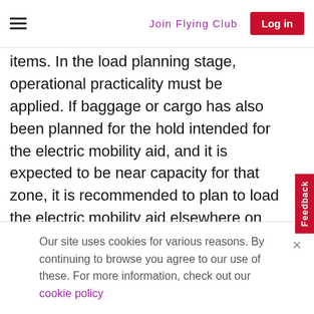Join Flying Club  Log in
items. In the load planning stage, operational practicality must be applied. If baggage or cargo has also been planned for the hold intended for the electric mobility aid, and it is expected to be near capacity for that zone, it is recommended to plan to load the electric mobility aid elsewhere on the aircraft if possible. This will reduce the risk of it being damaged and assist loading teams as they should have better acces
Our site uses cookies for various reasons. By continuing to browse you agree to our use of these. For more information, check out our cookie policy